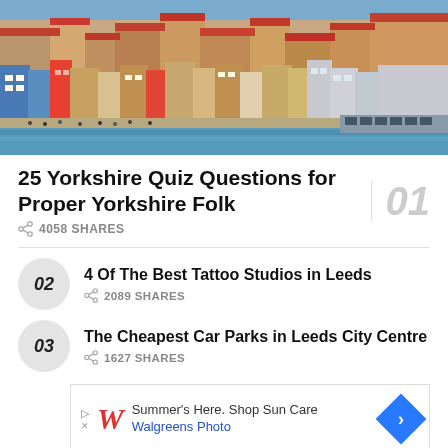[Figure (photo): Aerial view of a coastal British town, likely Scarborough or Whitby, with colorful densely packed buildings and a harbor/seafront visible.]
25 Yorkshire Quiz Questions for Proper Yorkshire Folk
4058 SHARES
4 Of The Best Tattoo Studios in Leeds
2089 SHARES
The Cheapest Car Parks in Leeds City Centre
1627 SHARES
[Figure (other): Walgreens Photo advertisement: Summer's Here. Shop Sun Care - Walgreens Photo]